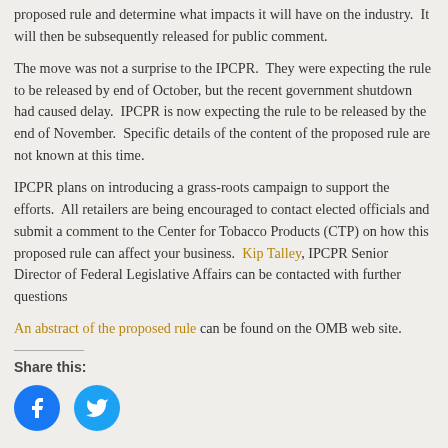proposed rule and determine what impacts it will have on the industry.  It will then be subsequently released for public comment.
The move was not a surprise to the IPCPR.  They were expecting the rule to be released by end of October, but the recent government shutdown had caused delay.  IPCPR is now expecting the rule to be released by the end of November.  Specific details of the content of the proposed rule are not known at this time.
IPCPR plans on introducing a grass-roots campaign to support the efforts.  All retailers are being encouraged to contact elected officials and submit a comment to the Center for Tobacco Products (CTP) on how this proposed rule can affect your business.  Kip Talley, IPCPR Senior Director of Federal Legislative Affairs can be contacted with further questions
An abstract of the proposed rule can be found on the OMB web site.
Share this: